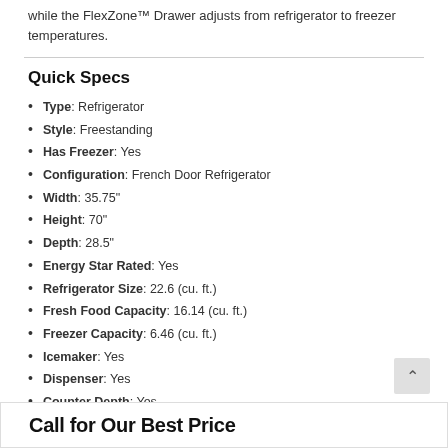while the FlexZone™ Drawer adjusts from refrigerator to freezer temperatures.
Quick Specs
Type: Refrigerator
Style: Freestanding
Has Freezer: Yes
Configuration: French Door Refrigerator
Width: 35.75"
Height: 70"
Depth: 28.5"
Energy Star Rated: Yes
Refrigerator Size: 22.6 (cu. ft.)
Fresh Food Capacity: 16.14 (cu. ft.)
Freezer Capacity: 6.46 (cu. ft.)
Icemaker: Yes
Dispenser: Yes
Counter Depth: Yes
Sabbath Mode: No
WiFi Connected: No
See More
Call for Our Best Price